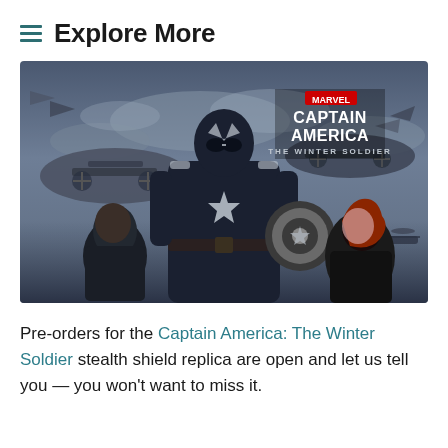≡ Explore More
[Figure (photo): Movie poster for Captain America: The Winter Soldier showing Captain America in stealth suit holding shield, flanked by Nick Fury and Black Widow, with helicarriers in background]
Pre-orders for the Captain America: The Winter Soldier stealth shield replica are open and let us tell you — you won't want to miss it.